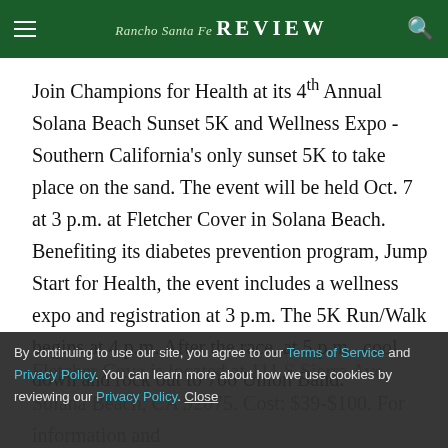Rancho Santa Fe REVIEW
Join Champions for Health at its 4th Annual Solana Beach Sunset 5K and Wellness Expo - Southern California's only sunset 5K to take place on the sand. The event will be held Oct. 7 at 3 p.m. at Fletcher Cover in Solana Beach. Benefiting its diabetes prevention program, Jump Start for Health, the event includes a wellness expo and registration at 3 p.m. The 5K Run/Walk begins at 4 p.m. After the race, at 5 p.m., cool down and rock out to 706 Union Band.
Fletcher Cove is located at 111 S Sierra Ave, Solana Beach, CA 92075. Cost: $39-$100. For information and
By continuing to use our site, you agree to our Terms of Service and Privacy Policy. You can learn more about how we use cookies by reviewing our Privacy Policy. Close